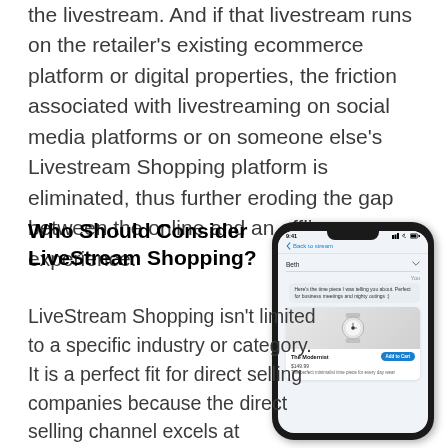the livestream. And if that livestream runs on the retailer's existing ecommerce platform or digital properties, the friction associated with livestreaming on social media platforms or on someone else's Livestream Shopping platform is eliminated, thus further eroding the gap between the online and an offline experience.
Who Should Consider LiveStream Shopping?
LiveStream Shopping isn't limited to a specific industry or category. It is a perfect fit for direct selling companies because the direct selling channel excels at
[Figure (illustration): Phone mockup showing a LiveStream Shopping app screen with a chat interface, product card for 'The Modernist' watch priced at $149.99 with an Add to Cart button]